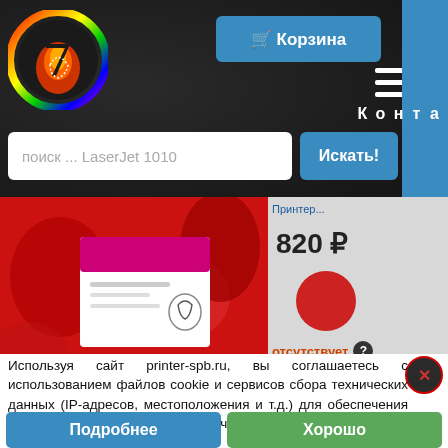[Figure (logo): Circular logo with rainbow border and red/orange flame graphic with stylized number 7]
Корзина
Контакты
поиск ... LaserJet 1010
Искать!
[Figure (photo): Product photo of a magenta toner cartridge box with red floral background]
820 Р
отсутствует
Известить о поступлении
Используя сайт printer-spb.ru, вы соглашаетесь с использованием файлов cookie и сервисов сбора технических данных (IP-адресов, местоположения и т.д.) для обеспечения работоспособности улучшения качества обслуживания.
Подробнее
Хорошо